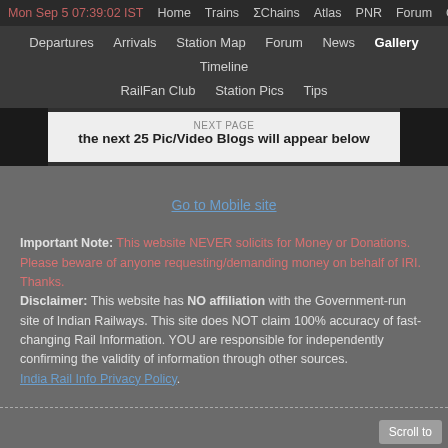Mon Sep 5 07:39:02 IST  Home  Trains  ΣChains  Atlas  PNR  Forum  Quiz F
Departures  Arrivals  Station Map  Forum  News  Gallery  Timeline  RailFan Club  Station Pics  Tips
NEXT PAGE
the next 25 Pic/Video Blogs will appear below
Go to Mobile site
Important Note: This website NEVER solicits for Money or Donations. Please beware of anyone requesting/demanding money on behalf of IRI. Thanks.
Disclaimer: This website has NO affiliation with the Government-run site of Indian Railways. This site does NOT claim 100% accuracy of fast-changing Rail Information. YOU are responsible for independently confirming the validity of information through other sources.
India Rail Info Privacy Policy.